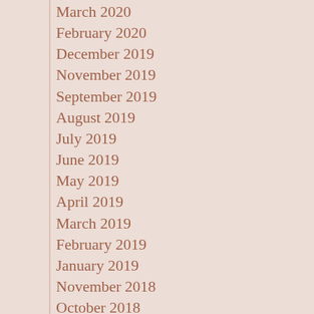March 2020
February 2020
December 2019
November 2019
September 2019
August 2019
July 2019
June 2019
May 2019
April 2019
March 2019
February 2019
January 2019
November 2018
October 2018
September 2018
August 2018
July 2018
June 2018
May 2018
April 2018